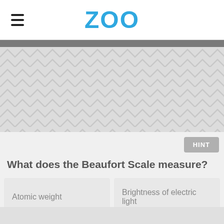ZOO
[Figure (other): Decorative chevron/herringbone pattern area in light gray]
HINT
What does the Beaufort Scale measure?
Atomic weight
Brightness of electric light
Pressure of gases
Wind speed